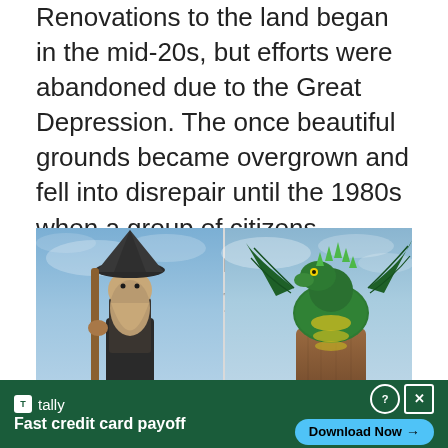Renovations to the land began in the mid-20s, but efforts were abandoned due to the Great Depression. The once beautiful grounds became overgrown and fell into disrepair until the 1980s when a group of citizens became determined to restore it to its former glory.
[Figure (photo): Two side-by-side outdoor photos: left shows a wooden carved wizard statue wearing a pointy hat and holding a staff, against a blue sky; right shows a wooden carved green dragon sculpture against a blue sky.]
[Figure (screenshot): Advertisement banner for Tally app: dark green background, Tally logo on left with tagline 'Fast credit card payoff', Download Now button with arrow on right, question mark and X close buttons in top right corner.]